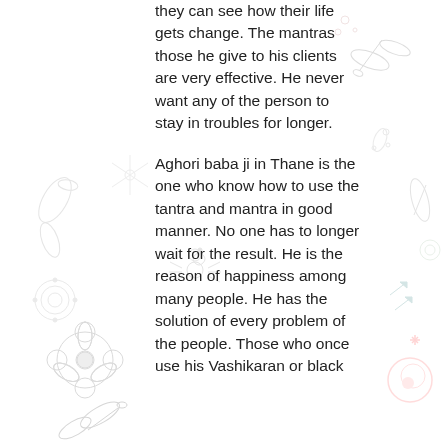[Figure (illustration): Decorative background with outline drawings of dragonflies, flowers, leaves, geometric circles, stars and small creatures in light gray, pink, and blue tones on white background]
they can see how their life gets change. The mantras those he give to his clients are very effective. He never want any of the person to stay in troubles for longer.
Aghori baba ji in Thane is the one who know how to use the tantra and mantra in good manner. No one has to longer wait for the result. He is the reason of happiness among many people. He has the solution of every problem of the people. Those who once use his Vashikaran or black